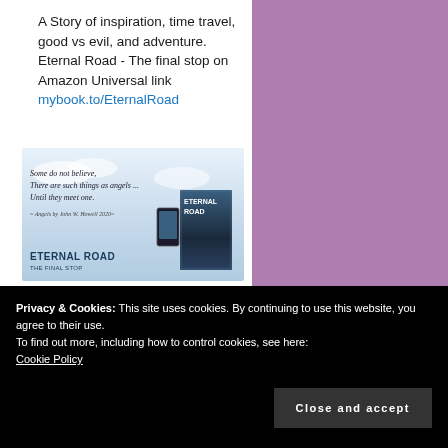A Story of inspiration, time travel, good vs evil, and adventure. Eternal Road - The final stop on Amazon Universal link mybook.to/EternalRoad
[Figure (photo): Book advertisement image for 'Eternal Road - The Final Stop' showing a quote: 'Some do not believe, There are such things as angels ... Until they meet one.' with book cover and phone device displayed against a sky background.]
4  124
Privacy & Cookies: This site uses cookies. By continuing to use this website, you agree to their use.
To find out more, including how to control cookies, see here: Cookie Policy
Close and accept
Up 22nd – 28th September 2022... #IrishDNA